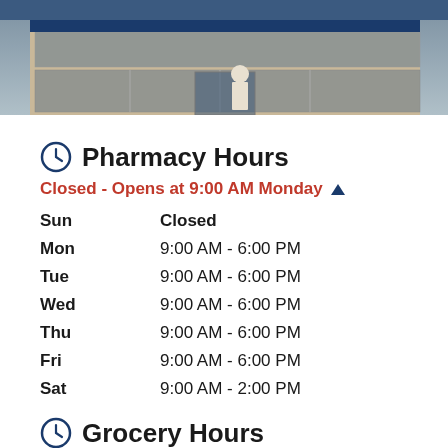[Figure (photo): Exterior photo of a store building with glass doors and facade]
Pharmacy Hours
Closed - Opens at 9:00 AM Monday
| Day | Hours |
| --- | --- |
| Sun | Closed |
| Mon | 9:00 AM - 6:00 PM |
| Tue | 9:00 AM - 6:00 PM |
| Wed | 9:00 AM - 6:00 PM |
| Thu | 9:00 AM - 6:00 PM |
| Fri | 9:00 AM - 6:00 PM |
| Sat | 9:00 AM - 2:00 PM |
Grocery Hours
Closed - Opens at 7:00 AM Monday